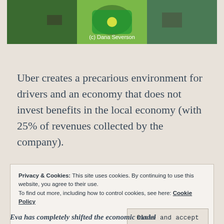[Figure (illustration): Illustrated image of Uber driver scene with green and yellow tones, cartoon/comic style]
(c) Dana Severson
Uber creates a precarious environment for drivers and an economy that does not invest benefits in the local economy (with 25% of revenues collected by the company).
Privacy & Cookies: This site uses cookies. By continuing to use this website, you agree to their use.
To find out more, including how to control cookies, see here: Cookie Policy
Close and accept
Eva has completely shifted the economic model